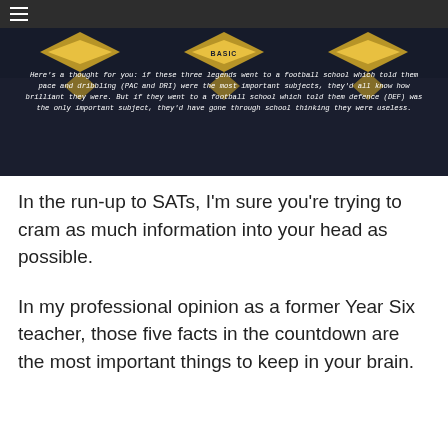≡
[Figure (screenshot): Dark navy background image showing three football player cards with yellow diamond badge shapes. The middle badge reads 'BASIC'. Below the cards is italic white text overlay.]
Here's a thought for you: if these three legends went to a football school which told them pace and dribbling (PAC and DRI) were the most important subjects, they'd all know how brilliant they were. But if they went to a football school which told them defence (DEF) was the only important subject, they'd have gone through school thinking they were useless.
In the run-up to SATs, I'm sure you're trying to cram as much information into your head as possible.
In my professional opinion as a former Year Six teacher, those five facts in the countdown are the most important things to keep in your brain.